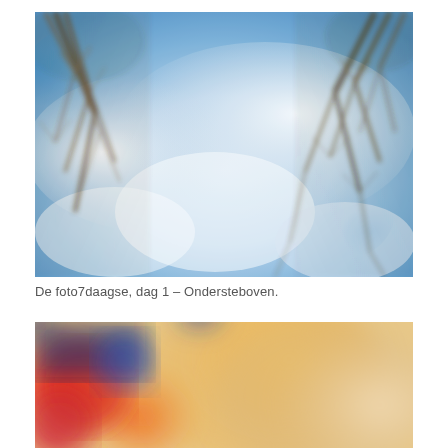[Figure (photo): Upside-down photo looking up at a blue sky with white clouds and bare tree branches framing the top corners. Blurred artistic effect.]
De foto7daagse, dag 1 – Ondersteboven.
[Figure (photo): Blurred colorful photo with red, orange, yellow, blue tones — abstract close-up, partially visible at bottom of page.]